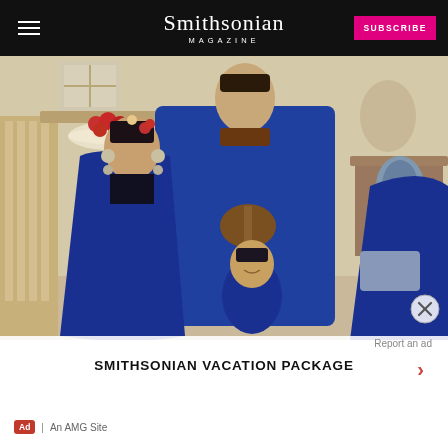Smithsonian MAGAZINE
[Figure (illustration): Traditional Chinese ancestor portrait painting showing three figures dressed in blue robes — a taller man standing at back, a woman wearing a black headdress with earrings, and a young child in front — set in an interior with furniture and decorative objects]
Report an ad
SMITHSONIAN VACATION PACKAGE
Ad | An AMG Site